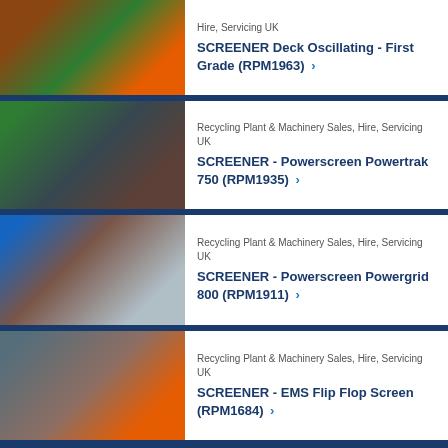[Figure (photo): Photo of industrial screener deck oscillating machinery, orange and green components]
Hire, Servicing UK
SCREENER Deck Oscillating - First Grade (RPM1963) >
[Figure (photo): Photo of Powerscreen Powertrak 750 machinery, green and dark metal]
Recycling Plant & Machinery Sales, Hire, Servicing UK
SCREENER - Powerscreen Powertrak 750 (RPM1935) >
[Figure (photo): Photo of Powerscreen Powergrid 800 machinery, blue and rusted metal]
Recycling Plant & Machinery Sales, Hire, Servicing UK
SCREENER - Powerscreen Powergrid 800 (RPM1911) >
[Figure (photo): Photo of EMS Flip Flop Screen machinery with red and orange frame]
Recycling Plant & Machinery Sales, Hire, Servicing UK
SCREENER - EMS Flip Flop Screen (RPM1684) >